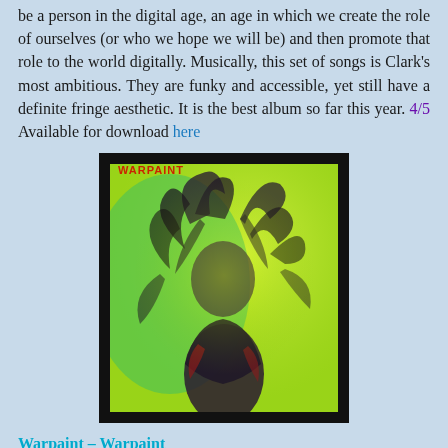be a person in the digital age, an age in which we create the role of ourselves (or who we hope we will be) and then promote that role to the world digitally. Musically, this set of songs is Clark's most ambitious. They are funky and accessible, yet still have a definite fringe aesthetic. It is the best album so far this year. 4/5 Available for download here
[Figure (photo): Album cover of Warpaint self-titled album. Black border with bright yellow-green background and a figure with wild dark hair, abstract and blurred aesthetic. 'WARPAINT' text in red at top.]
Warpaint – Warpaint
Review: Warpaint also hails from Los Angeles. There self-titled second album is a haunting, brooding experience of beautifully harmonized vocals that feels all consuming, and